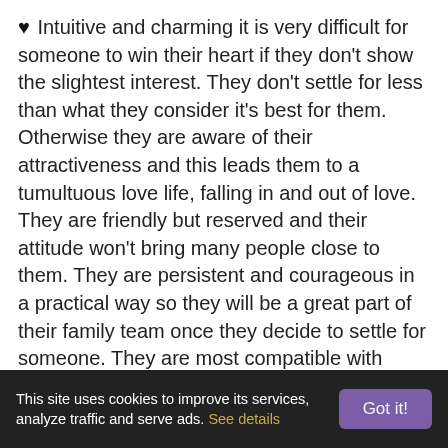♥ Intuitive and charming it is very difficult for someone to win their heart if they don't show the slightest interest. They don't settle for less than what they consider it's best for them. Otherwise they are aware of their attractiveness and this leads them to a tumultuous love life, falling in and out of love. They are friendly but reserved and their attitude won't bring many people close to them. They are persistent and courageous in a practical way so they will be a great part of their family team once they decide to settle for someone. They are most compatible with those born on 1st, 4th, 8th, 10th, 13th, 17th, 19th, 22th, 26th, 28th and 31st.
♥ September 26 Zodiac people are very attached to the other two air signs: Gemini and Aquarius as they tend to share the same vision of life. In life, Libra is in a constant search for an active and visionary partner to expand their horizon and the one to offer them this is the native in Aquarius. The lover in Libra is thought to be least compatible with Aries. As for the rest of compatibilities between the other star signs and Libra, you know what they
This site uses cookies to improve its services, analyze traffic and serve ads. See details   Got it!